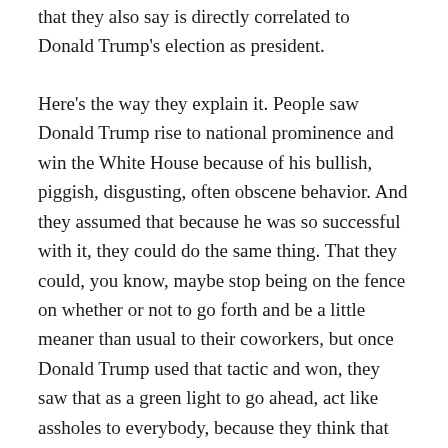that they also say is directly correlated to Donald Trump's election as president.
Here's the way they explain it. People saw Donald Trump rise to national prominence and win the White House because of his bullish, piggish, disgusting, often obscene behavior. And they assumed that because he was so successful with it, they could do the same thing. That they could, you know, maybe stop being on the fence on whether or not to go forth and be a little meaner than usual to their coworkers, but once Donald Trump used that tactic and won, they saw that as a green light to go ahead, act like assholes to everybody, because they think that that's how you actually get ahead in life.
Human resources administrators have also had to